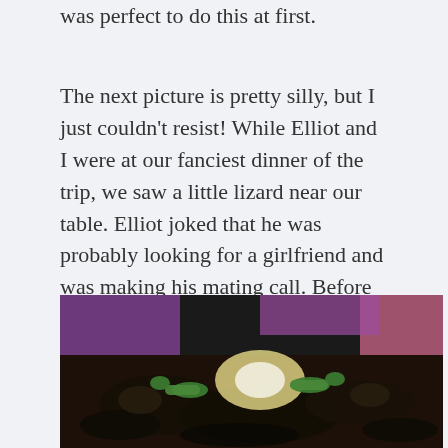was perfect to do this at first.
The next picture is pretty silly, but I just couldn't resist! While Elliot and I were at our fanciest dinner of the trip, we saw a little lizard near our table. Elliot joked that he was probably looking for a girlfriend and was making his mating call. Before long he found a friend and they did not seem to mind that we were sitting right there! Our fancy dinner suddenly got even better.
[Figure (photo): Close-up photo of lizards on dark rocky ground with purple and pink background elements, bathed in bright light.]